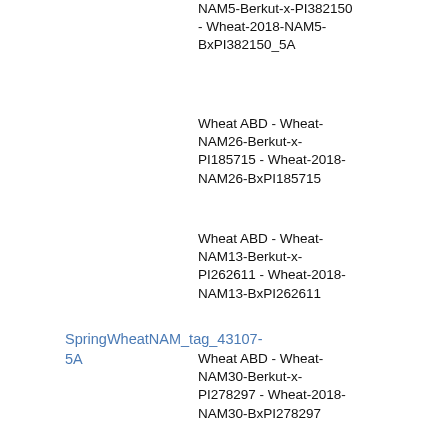NAM5-Berkut-x-PI382150 - Wheat-2018-NAM5-BxPI382150_5A
Wheat ABD - Wheat-NAM26-Berkut-x-PI185715 - Wheat-2018-NAM26-BxPI185715
Wheat ABD - Wheat-NAM13-Berkut-x-PI262611 - Wheat-2018-NAM13-BxPI262611
Wheat ABD - Wheat-NAM30-Berkut-x-PI278297 - Wheat-2018-NAM30-BxPI278297
Wheat ABD - Wheat-NAM12-Berkut-x-Cltr11223 - Wheat-2018-NAM12-BxCltr11223
Wheat ABD - Wheat-NAM29-Berkut-x-PI220431 - Wheat-2018-NAM29-BxPI220431
Wheat ABD - Wheat-NAM24-Berkut-x-PI192147 - Wheat-2018-NAM24-BxPI192147
SpringWheatNAM_tag_43107-5A    locus    197.5